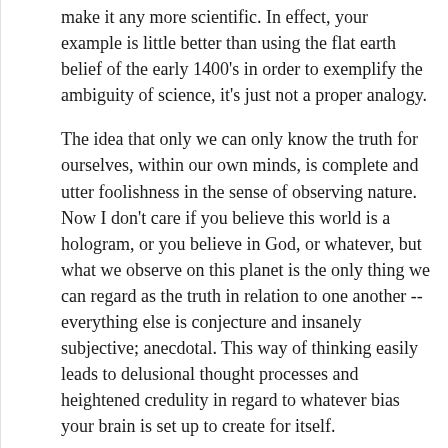make it any more scientific. In effect, your example is little better than using the flat earth belief of the early 1400's in order to exemplify the ambiguity of science, it's just not a proper analogy.
The idea that only we can only know the truth for ourselves, within our own minds, is complete and utter foolishness in the sense of observing nature. Now I don't care if you believe this world is a hologram, or you believe in God, or whatever, but what we observe on this planet is the only thing we can regard as the truth in relation to one another -- everything else is conjecture and insanely subjective; anecdotal. This way of thinking easily leads to delusional thought processes and heightened credulity in regard to whatever bias your brain is set up to create for itself.